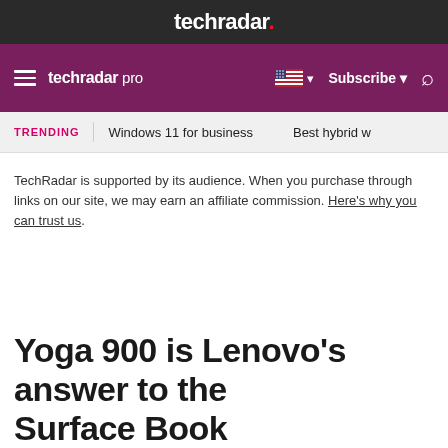techradar.
techradar pro | Subscribe | search
TRENDING | Windows 11 for business | Best hybrid w…
TechRadar is supported by its audience. When you purchase through links on our site, we may earn an affiliate commission. Here's why you can trust us.
Yoga 900 is Lenovo's answer to the Surface Book